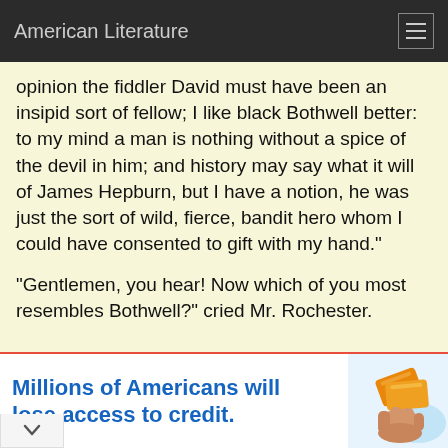American Literature
opinion the fiddler David must have been an insipid sort of fellow; I like black Bothwell better: to my mind a man is nothing without a spice of the devil in him; and history may say what it will of James Hepburn, but I have a notion, he was just the sort of wild, fierce, bandit hero whom I could have consented to gift with my hand."
"Gentlemen, you hear! Now which of you most resembles Bothwell?" cried Mr. Rochester.
uld say the preference lies with you."
[Figure (screenshot): Advertisement banner: 'Millions of Americans will lose access to credit.' with an illustration of a hand holding credit cards.]